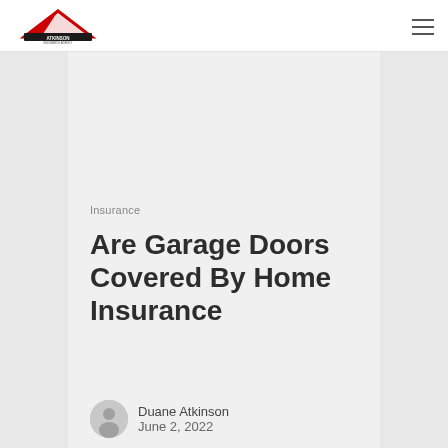Atkinson Insurance Agency
Insurance
Are Garage Doors Covered By Home Insurance
Duane Atkinson
June 2, 2022